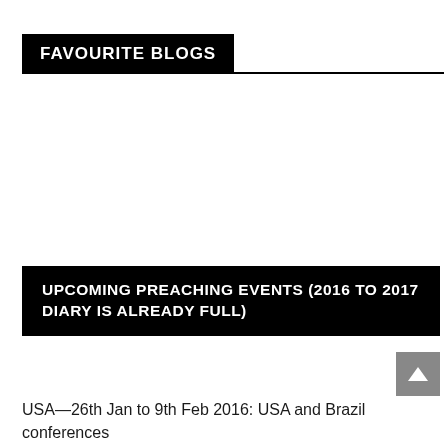FAVOURITE BLOGS
UPCOMING PREACHING EVENTS (2016 TO 2017 DIARY IS ALREADY FULL)
USA—26th Jan to 9th Feb 2016: USA and Brazil conferences